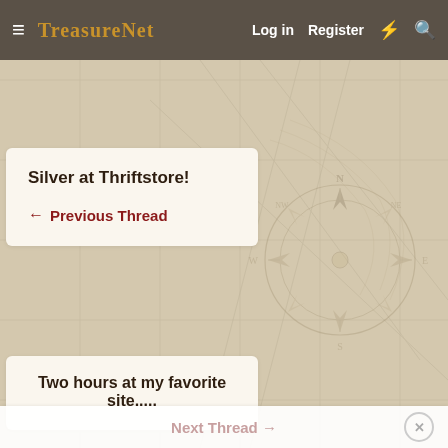TreasureNet  Log in  Register
[Figure (illustration): Vintage parchment map background with compass rose and grid lines in light tan/beige tones]
Silver at Thriftstore!
← Previous Thread
Two hours at my favorite site.....
Next Thread →